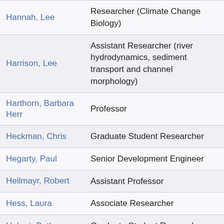| Name | Role |
| --- | --- |
| Hannah, Lee | Researcher (Climate Change Biology) |
| Harrison, Lee | Assistant Researcher (river hydrodynamics, sediment transport and channel morphology) |
| Harthorn, Barbara Herr | Professor |
| Heckman, Chris | Graduate Student Researcher |
| Hegarty, Paul | Senior Development Engineer |
| Heilmayr, Robert | Assistant Professor |
| Hess, Laura | Associate Researcher |
| Hobart, Bethany | Graduate Student Researcher |
| Holden, | Professor (Environmental Microbiology) |